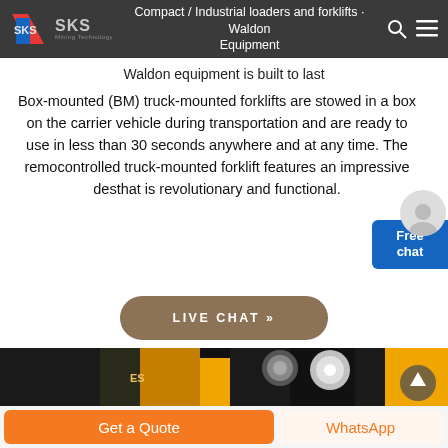Compact / Industrial loaders and forklifts · Waldon Equipment
Waldon equipment is built to last
Box-mounted (BM) truck-mounted forklifts are stowed in a box on the carrier vehicle during transportation and are ready to use in less than 30 seconds anywhere and at any time. The remote controlled truck-mounted forklift features an impressive design that is revolutionary and functional.
[Figure (screenshot): Live Chat button (brown rounded rectangle) with text LIVE CHAT »]
[Figure (photo): Close-up photo of industrial forklift mechanical components in black and yellow/orange colors]
Get a Quote
WhatsApp